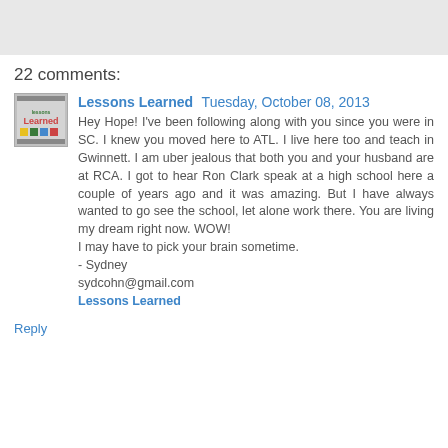22 comments:
Lessons Learned  Tuesday, October 08, 2013
Hey Hope! I've been following along with you since you were in SC. I knew you moved here to ATL. I live here too and teach in Gwinnett. I am uber jealous that both you and your husband are at RCA. I got to hear Ron Clark speak at a high school here a couple of years ago and it was amazing. But I have always wanted to go see the school, let alone work there. You are living my dream right now. WOW!
I may have to pick your brain sometime.
- Sydney
sydcohn@gmail.com
Lessons Learned
Reply